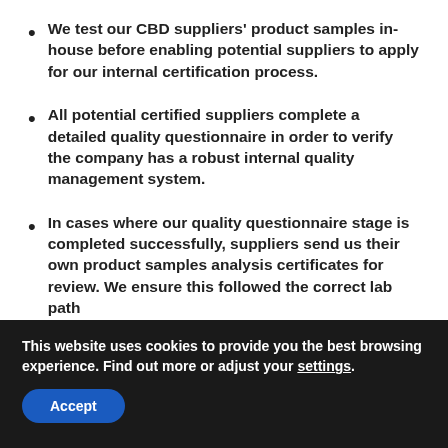We test our CBD suppliers' product samples in-house before enabling potential suppliers to apply for our internal certification process.
All potential certified suppliers complete a detailed quality questionnaire in order to verify the company has a robust internal quality management system.
In cases where our quality questionnaire stage is completed successfully, suppliers send us their own product samples analysis certificates for review. We ensure this followed the correct lab path
This website uses cookies to provide you the best browsing experience. Find out more or adjust your settings.